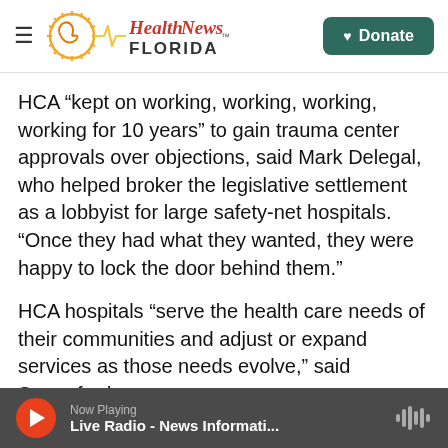Health News Florida | Donate
HCA “kept on working, working, working, working for 10 years” to gain trauma center approvals over objections, said Mark Delegal, who helped broker the legislative settlement as a lobbyist for large safety-net hospitals. “Once they had what they wanted, they were happy to lock the door behind them.”
HCA hospitals “serve the health care needs of their communities and adjust or expand services as those needs evolve,” said Sumerford.
As HCA added trauma centers, trauma-activation
Now Playing | Live Radio - News Informati...